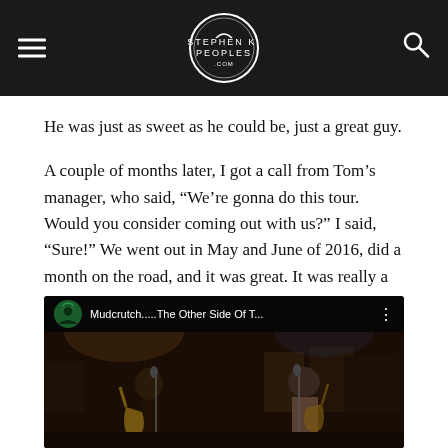Stephen K. Peoples .com — navigation header
He was just as sweet as he could be, just a great guy.
A couple of months later, I got a call from Tom's manager, who said, “We're gonna do this tour. Would you consider coming out with us?” I said, “Sure!” We went out in May and June of 2016, did a month on the road, and it was great. It was really a well-disciplined show, everybody was professional.
[Figure (screenshot): Embedded YouTube video thumbnail showing two musicians on stage with the title 'Mudcrutch.....The Other Side Of T...' and a red play button overlay]